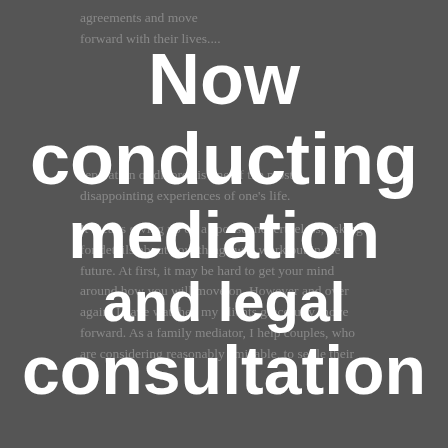agreements and move forward with their lives.... separation or divorce is one of the most disappointing experiences of one's life. It means giving up on a spouse, nevertheless, asking for details about how things will work out in the future. At first, it may be hard to get your mind around how you will move on. However and over again, I have watched my clients gracefully move forward. As a family mediator, I help couples, who are considering reasonably amicable, to settle their
Now conducting mediation and legal consultation